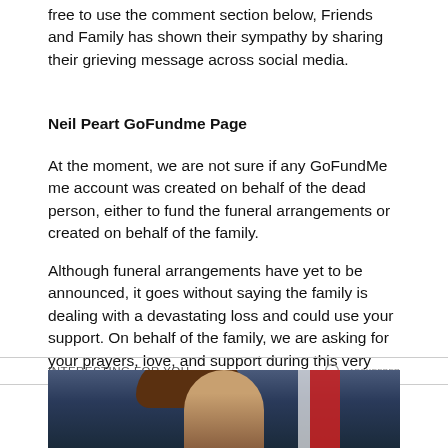free to use the comment section below, Friends and Family has shown their sympathy by sharing their grieving message across social media.
Neil Peart GoFundme Page
At the moment, we are not sure if any GoFundMe me account was created on behalf of the dead person, either to fund the funeral arrangements or created on behalf of the family.
Although funeral arrangements have yet to be announced, it goes without saying the family is dealing with a devastating loss and could use your support. On behalf of the family, we are asking for your prayers, love, and support during this very difficult and painful time for them.
INTERESTING FOR YOU
[Figure (photo): Photo of a woman at what appears to be a podium or stage with an American flag visible in the background. Dark blue/dark toned background.]